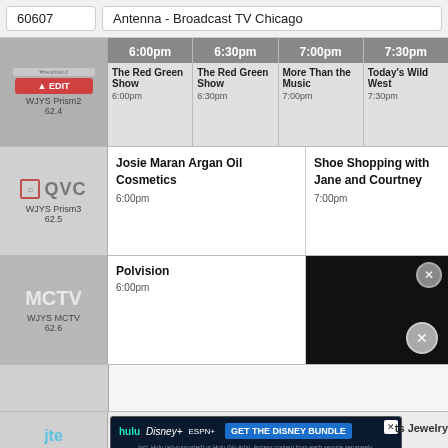60607
Antenna - Broadcast TV Chicago
| Channel | 6:00pm | 6:30pm | 7:00pm | 7:30pm |
| --- | --- | --- | --- | --- |
| Heartland / WJYS Prism2 62.4 | The Red Green Show 6:00pm | The Red Green Show 6:30pm | More Than the Music 7:00pm | Today's Wild West 7:30pm |
| QVC / WJYS Prism3 62.5 | Josie Maran Argan Oil Cosmetics 6:00pm |  | Shoe Shopping with Jane and Courtney 7:00pm |  |
| MCTV / WJYS MCTV 62.6 | Polvision 6:00pm |  | [video overlay] |  |
|  |  |  |  |  |
| JTV / WJYS Je... TV 62.7 | [Disney Bundle Ad] |  | ...ts Jewelry | 5:00pm |
[Figure (screenshot): Black video player overlay with close button]
[Figure (screenshot): Disney Bundle advertisement banner: hulu, Disney+, ESPN+, GET THE DISNEY BUNDLE]